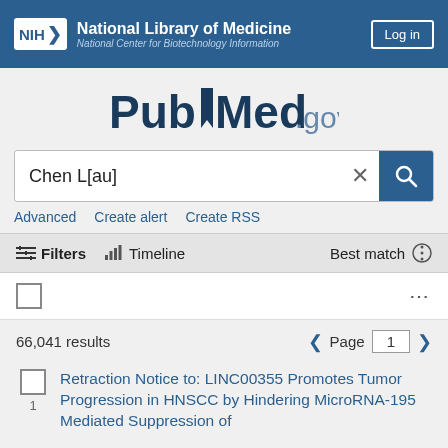[Figure (screenshot): NIH / National Library of Medicine header with PubMed search interface showing query 'Chen L[au]' with 66,041 results, page 1, and first result title beginning 'Retraction Notice to: LINC00355 Promotes Tumor Progression in HNSCC by Hindering MicroRNA-195 Mediated Suppression of']
Chen L[au]
Advanced   Create alert   Create RSS
Filters   Timeline   Best match
66,041 results   Page 1
Retraction Notice to: LINC00355 Promotes Tumor Progression in HNSCC by Hindering MicroRNA-195 Mediated Suppression of